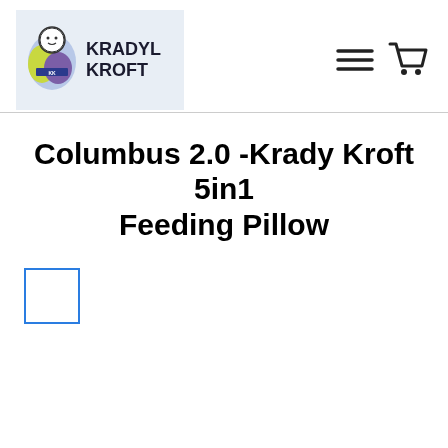[Figure (logo): Kradyl Kroft logo with child icon and brand name on light blue background]
[Figure (other): Hamburger menu icon and shopping cart icon in the top right navigation]
Columbus 2.0 -Krady Kroft 5in1 Feeding Pillow
[Figure (other): Small blue-bordered empty thumbnail/image placeholder box]